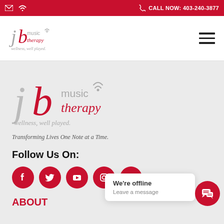CALL NOW: 403-240-3877
[Figure (logo): JB Music Therapy logo in navigation bar]
[Figure (logo): JB Music Therapy large logo with tagline 'wellness, well played.']
Transforming Lives One Note at a Time.
Follow Us On:
[Figure (illustration): Five red circular social media icons: Facebook, Twitter, YouTube, Instagram, RSS feed]
ABOUT
We're offline
Leave a message